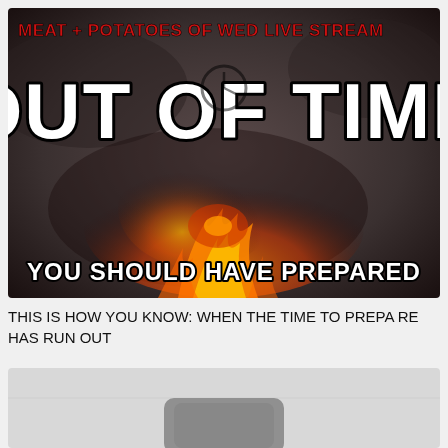[Figure (illustration): Thumbnail image with dark smoky background, large text 'OUT OF TIME' in white with black outline, red header text 'MEAT + POTATOES OF WED LIVE STREAM', flames in center, and text 'YOU SHOULD HAVE PREPARED' at bottom.]
THIS IS HOW YOU KNOW: WHEN THE TIME TO PREPARE HAS RUN OUT
[Figure (photo): Partial image of a dark electronic device (appears to be a DVR or set-top box) on a light gray background.]